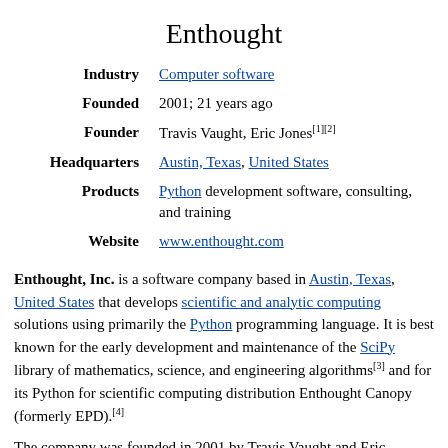Enthought
| Label | Value |
| --- | --- |
| Industry | Computer software |
| Founded | 2001; 21 years ago |
| Founder | Travis Vaught, Eric Jones[1][2] |
| Headquarters | Austin, Texas, United States |
| Products | Python development software, consulting, and training |
| Website | www.enthought.com |
Enthought, Inc. is a software company based in Austin, Texas, United States that develops scientific and analytic computing solutions using primarily the Python programming language. It is best known for the early development and maintenance of the SciPy library of mathematics, science, and engineering algorithms[3] and for its Python for scientific computing distribution Enthought Canopy (formerly EPD).[4]
The company was founded in 2001 by Travis Vaught and Eric